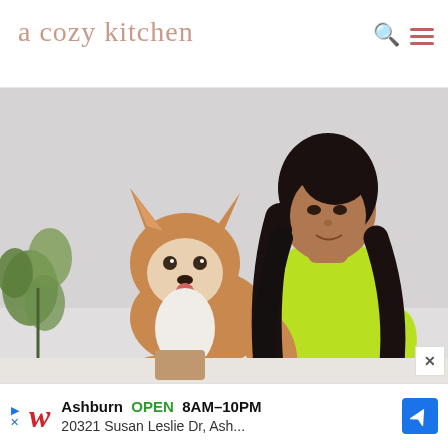a cozy kitchen
[Figure (photo): A young woman with long dark wavy hair wearing a bright yellow-green ribbed top, sitting at a table with a Corgi dog beside her. There is greenery/eucalyptus plant to the left. Light grey background. Studio-style photo.]
× (close button)
Ashburn OPEN 8AM–10PM 20321 Susan Leslie Dr, Ash... (Walgreens advertisement)